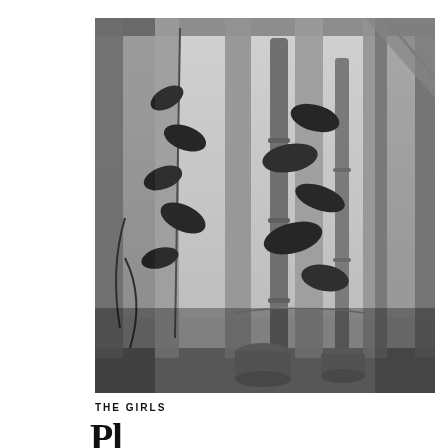[Figure (photo): Black and white photograph looking upward through wooden deck/fence railings with plants and bamboo visible. A potted plant sits at the bottom. The image shows vertical wooden slats against a bright sky with leafy plants and bamboo stalks intertwined.]
THE GIRLS
Pl...